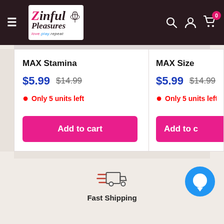[Figure (screenshot): Zinful Pleasures e-commerce website header with logo, hamburger menu, and icons for search, account, and cart (badge showing 0)]
MAX Stamina
$5.99  $14.99
Only 5 units left
Add to cart
MAX Size
$5.99  $14.99
Only 5 units left
Add to
[Figure (illustration): Fast shipping truck icon with speed lines]
Fast Shipping
[Figure (illustration): Blue circle chat/messenger bubble icon in bottom right]